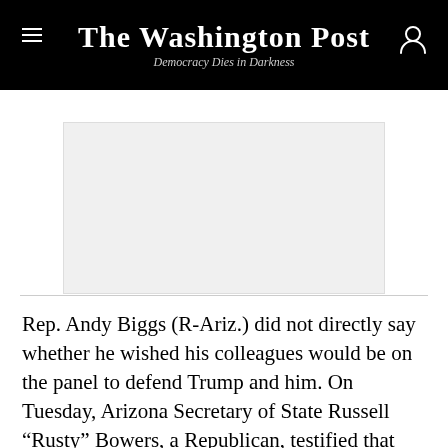The Washington Post
Democracy Dies in Darkness
[Figure (other): Advertisement placeholder block (gray rectangle)]
Rep. Andy Biggs (R-Ariz.) did not directly say whether he wished his colleagues would be on the panel to defend Trump and him. On Tuesday, Arizona Secretary of State Russell “Rusty” Bowers, a Republican, testified that Biggs had tried to get him to sign a letter acknowledging he would support the decertification of electors who would cast a representative ballot for